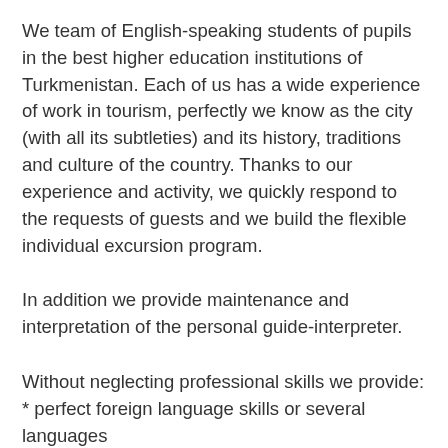We team of English-speaking students of pupils in the best higher education institutions of Turkmenistan. Each of us has a wide experience of work in tourism, perfectly we know as the city (with all its subtleties) and its history, traditions and culture of the country. Thanks to our experience and activity, we quickly respond to the requests of guests and we build the flexible individual excursion program.
In addition we provide maintenance and interpretation of the personal guide-interpreter.
Without neglecting professional skills we provide:
* perfect foreign language skills or several languages
* ability to be guided in city topography
* individual approach to each client